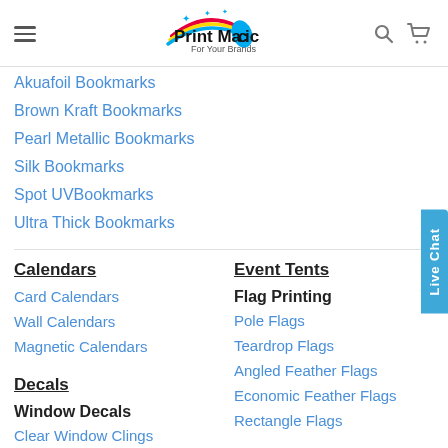Print Magic — For Your Brands (navigation header with hamburger menu, logo, search and cart icons)
Akuafoil Bookmarks
Brown Kraft Bookmarks
Pearl Metallic Bookmarks
Silk Bookmarks
Spot UVBookmarks
Ultra Thick Bookmarks
Calendars
Card Calendars
Wall Calendars
Magnetic Calendars
Decals
Window Decals
Clear Window Clings
Event Tents
Flag Printing
Pole Flags
Teardrop Flags
Angled Feather Flags
Economic Feather Flags
Rectangle Flags